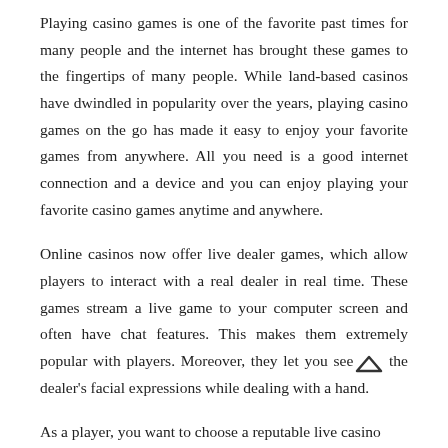Playing casino games is one of the favorite past times for many people and the internet has brought these games to the fingertips of many people. While land-based casinos have dwindled in popularity over the years, playing casino games on the go has made it easy to enjoy your favorite games from anywhere. All you need is a good internet connection and a device and you can enjoy playing your favorite casino games anytime and anywhere.
Online casinos now offer live dealer games, which allow players to interact with a real dealer in real time. These games stream a live game to your computer screen and often have chat features. This makes them extremely popular with players. Moreover, they let you see the dealer's facial expressions while dealing with a hand.
As a player, you want to choose a reputable live casino